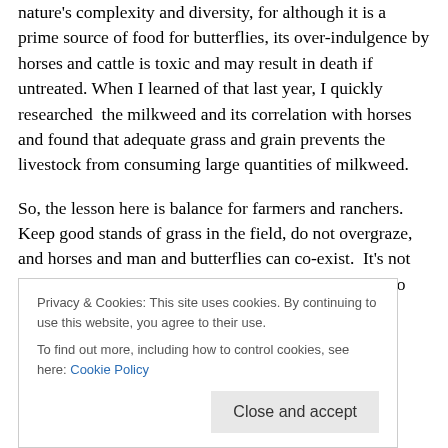nature's complexity and diversity, for although it is a prime source of food for butterflies, its over-indulgence by horses and cattle is toxic and may result in death if untreated. When I learned of that last year, I quickly researched  the milkweed and its correlation with horses and found that adequate grass and grain prevents the livestock from consuming large quantities of milkweed.
So, the lesson here is balance for farmers and ranchers. Keep good stands of grass in the field, do not overgraze, and horses and man and butterflies can co-exist.  It's not the final lesson of life  but it's one of the best lessons to
Privacy & Cookies: This site uses cookies. By continuing to use this website, you agree to their use.
To find out more, including how to control cookies, see here: Cookie Policy
interconnectedness of us all.